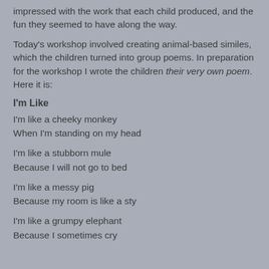impressed with the work that each child produced, and the fun they seemed to have along the way.
Today's workshop involved creating animal-based similes, which the children turned into group poems. In preparation for the workshop I wrote the children their very own poem. Here it is:
I'm Like
I'm like a cheeky monkey
When I'm standing on my head
I'm like a stubborn mule
Because I will not go to bed
I'm like a messy pig
Because my room is like a sty
I'm like a grumpy elephant
Because I sometimes cry